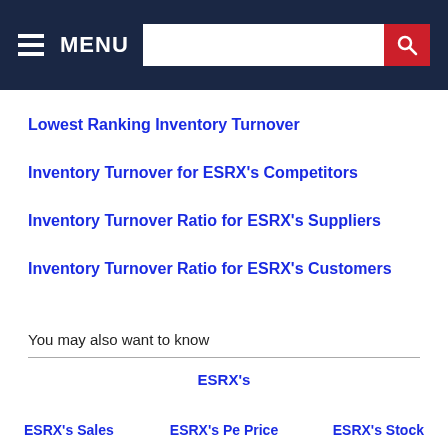MENU [search bar]
Lowest Ranking Inventory Turnover
Inventory Turnover for ESRX's Competitors
Inventory Turnover Ratio for ESRX's Suppliers
Inventory Turnover Ratio for ESRX's Customers
You may also want to know
ESRX's
ESRX's Sales
ESRX's Pe Price
ESRX's Stock